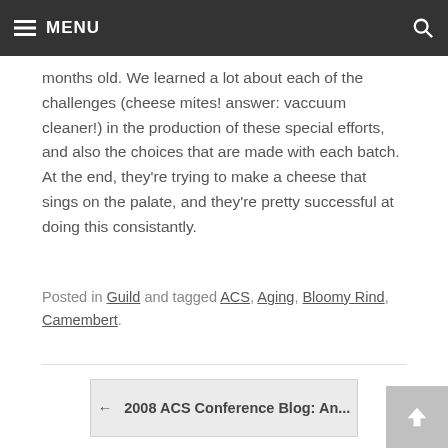MENU
months old. We learned a lot about each of the challenges (cheese mites! answer: vaccuum cleaner!) in the production of these special efforts, and also the choices that are made with each batch. At the end, they're trying to make a cheese that sings on the palate, and they're pretty successful at doing this consistantly.
Posted in Guild and tagged ACS, Aging, Bloomy Rind, Camembert.
← 2008 ACS Conference Blog: An...
2008 ACS Conference Blog: ACS Awards →